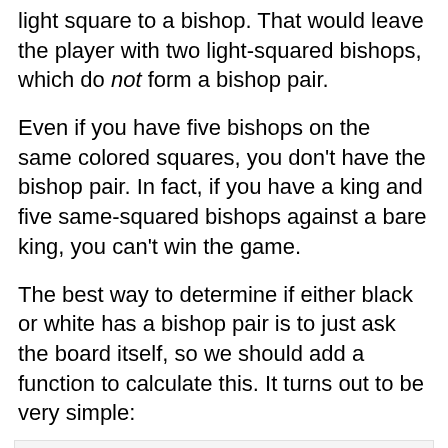light square to a bishop. That would leave the player with two light-squared bishops, which do not form a bishop pair.
Even if you have five bishops on the same colored squares, you don't have the bishop pair. In fact, if you have a king and five same-squared bishops against a bare king, you can't win the game.
The best way to determine if either black or white has a bishop pair is to just ask the board itself, so we should add a function to calculate this. It turns out to be very simple:
[Figure (screenshot): Rust code block showing the beginning of a pub fn has_bishop_pair function with let mut bishops, let mut white_square, let mut black_square, and an if bishops.count_ones() >= 2 block with a while loop and let square = bits::next call.]